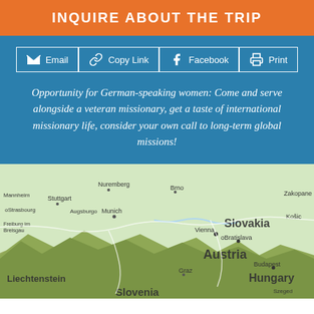INQUIRE ABOUT THE TRIP
[Figure (infographic): Share buttons row: Email, Copy Link, Facebook, Print with icons]
Opportunity for German-speaking women: Come and serve alongside a veteran missionary, get a taste of international missionary life, consider your own call to long-term global missions!
[Figure (map): Map showing Central Europe including Austria, Germany, Slovakia, Hungary, Slovenia, Liechtenstein with cities like Vienna, Munich, Bratislava, Brno, Graz, Budapest, Nuremberg, Stuttgart]